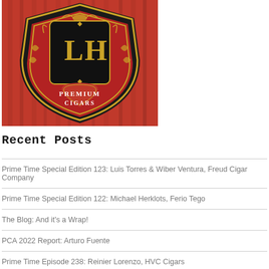[Figure (logo): LH Premium Cigars logo — red and black ornate shield with gold decorative scrollwork, large gold 'LH' letters in center, red heart at bottom with white text reading 'PREMIUM CIGARS']
Recent Posts
Prime Time Special Edition 123: Luis Torres & Wiber Ventura, Freud Cigar Company
Prime Time Special Edition 122: Michael Herklots, Ferio Tego
The Blog: And it's a Wrap!
PCA 2022 Report: Arturo Fuente
Prime Time Episode 238: Reinier Lorenzo, HVC Cigars